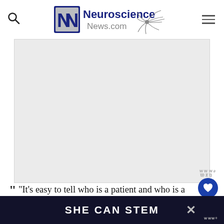[Figure (logo): Neuroscience News.com logo with stylized N letters and neuron graphic]
[Figure (photo): Large rectangular image placeholder (light gray, main article image)]
“It’s easy to tell who is a patient and who is a control, but it is not so easy
[Figure (infographic): SHE CAN STEM dark banner advertisement at bottom of page]